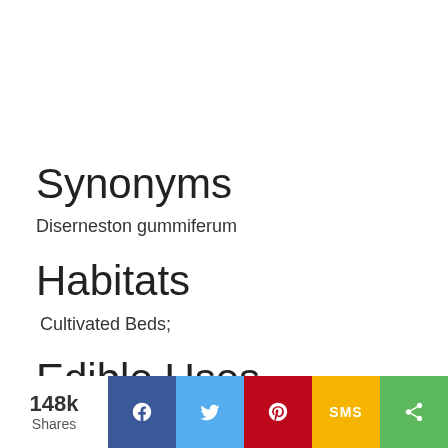Synonyms
Diserneston gummiferum
Habitats
Cultivated Beds;
Edible Uses
None known
148k Shares | Facebook | Twitter | Pinterest | SMS | Share